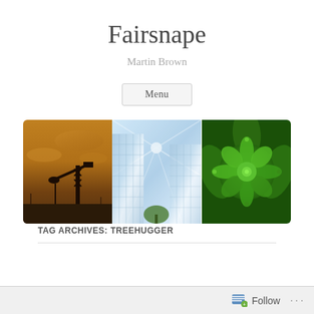Fairsnape
Martin Brown
Menu
[Figure (photo): Banner image with three panels: oil pump jack silhouette against golden sky, glass office building with sunburst reflection, and close-up of green succulent plant]
TAG ARCHIVES: TREEHUGGER
Follow ...